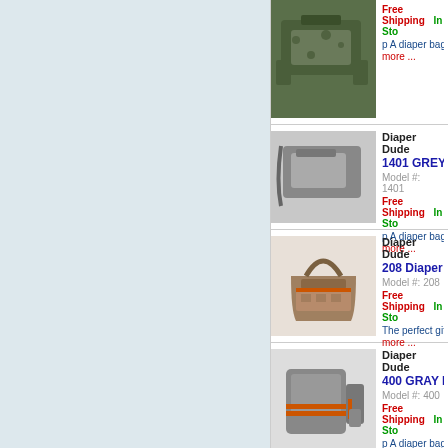[Figure (screenshot): E-commerce product listing page showing diaper bags from Diaper Dude brand. Left panel is light blue/grey. Right panel shows product rows with thumbnail images, brand name, product name in blue, model number, Free Shipping in red, In Stock in green, and description text.]
Diaper Dude
1401 GREY MS WA...
Model #: 1401
Free Shipping    In Sto...
p A diaper bag that d...
more ...
Diaper Dude
208 Diaper Diva B...
Model #: 208
Free Shipping    In Sto...
The perfect gift for M...
more ...
Diaper Dude
400 GRAY DUDE W...
Model #: 400
Free Shipping    In Sto...
p A diaper bag that d...
more ...
Diaper Dude
400D GRAY DUDE...
Model #: 400D
Free Shipping    In Sto...
p A diaper bag that d...